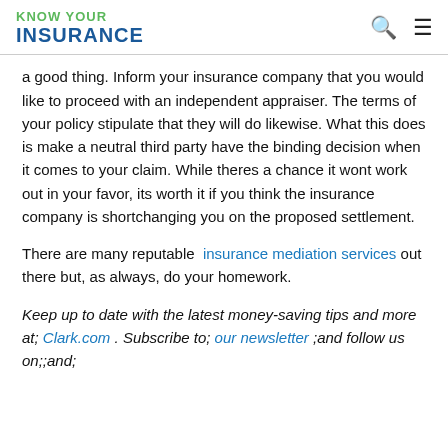KNOW YOUR INSURANCE
a good thing. Inform your insurance company that you would like to proceed with an independent appraiser. The terms of your policy stipulate that they will do likewise. What this does is make a neutral third party have the binding decision when it comes to your claim. While theres a chance it wont work out in your favor, its worth it if you think the insurance company is shortchanging you on the proposed settlement.
There are many reputable insurance mediation services out there but, as always, do your homework.
Keep up to date with the latest money-saving tips and more at; Clark.com . Subscribe to; our newsletter ;and follow us on;;and;